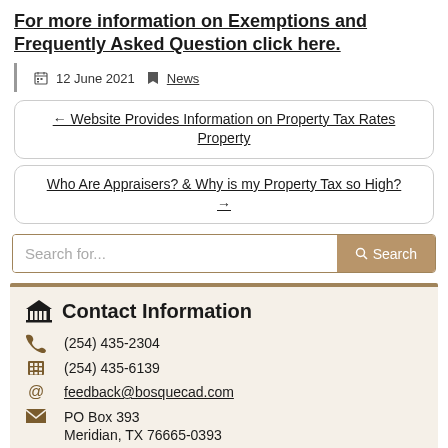For more information on Exemptions and Frequently Asked Question click here.
12 June 2021  News
← Website Provides Information on Property Tax Rates Property
Who Are Appraisers? & Why is my Property Tax so High? →
Search for...
Contact Information
(254) 435-2304
(254) 435-6139
feedback@bosquecad.com
PO Box 393
Meridian, TX 76665-0393